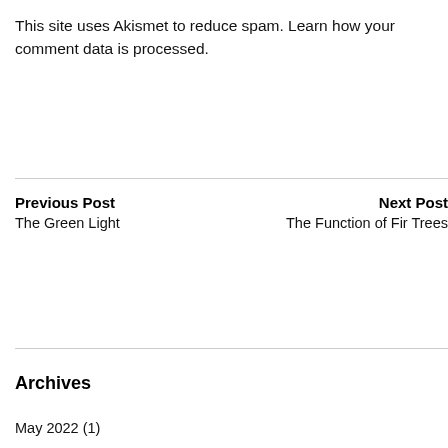This site uses Akismet to reduce spam. Learn how your comment data is processed.
Previous Post
The Green Light
Next Post
The Function of Fir Trees
Archives
May 2022 (1)